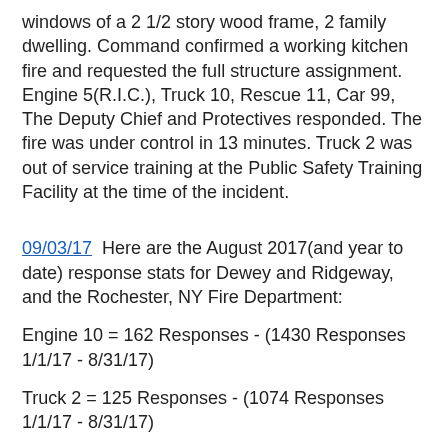windows of a 2 1/2 story wood frame, 2 family dwelling. Command confirmed a working kitchen fire and requested the full structure assignment. Engine 5(R.I.C.), Truck 10, Rescue 11, Car 99, The Deputy Chief and Protectives responded. The fire was under control in 13 minutes. Truck 2 was out of service training at the Public Safety Training Facility at the time of the incident.
09/03/17  Here are the August 2017(and year to date) response stats for Dewey and Ridgeway, and the Rochester, NY Fire Department:
Engine 10 = 162 Responses - (1430 Responses 1/1/17 - 8/31/17)
Truck 2 = 125 Responses - (1074 Responses 1/1/17 - 8/31/17)
Rochester, NY F.D. = 3045 Incidents - (23366 Incidents